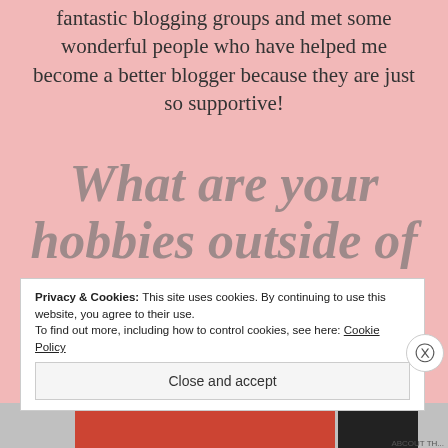fantastic blogging groups and met some wonderful people who have helped me become a better blogger because they are just so supportive!
What are your hobbies outside of blogging?
Privacy & Cookies: This site uses cookies. By continuing to use this website, you agree to their use. To find out more, including how to control cookies, see here: Cookie Policy
Close and accept
[Figure (screenshot): Bottom strip showing partial image content with red and dark colored blocks, partially obscured]